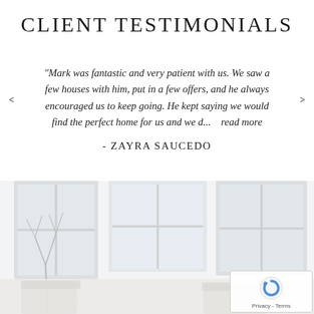CLIENT TESTIMONIALS
"Mark was fantastic and very patient with us. We saw a few houses with him, put in a few offers, and he always encouraged us to keep going. He kept saying we would find the perfect home for us and we d...   read more
- ZAYRA SAUCEDO
[Figure (photo): Interior room photo showing a bright white living room with large windows, white chairs, and a bare branch decoration. Light and airy atmosphere.]